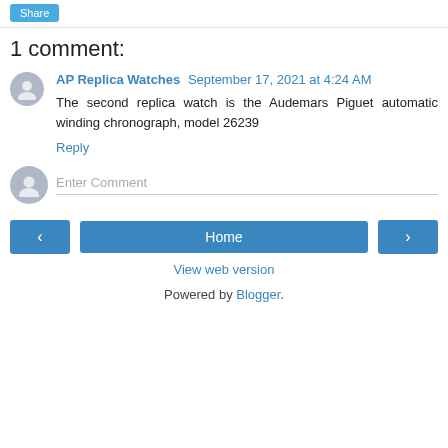Share
1 comment:
AP Replica Watches September 17, 2021 at 4:24 AM
The second replica watch is the Audemars Piguet automatic winding chronograph, model 26239
Reply
Enter Comment
Home
View web version
Powered by Blogger.